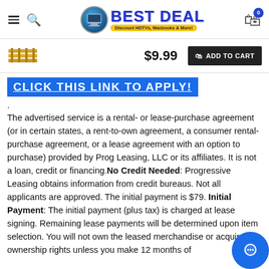[Figure (logo): Best Deal logo with tagline 'Discount HDTVs, Macbooks & More!' and a computer image circle]
[Figure (photo): Small product thumbnail of gold electronic component (connector)]
$9.99
ADD TO CART
CLICK THIS LINK TO APPLY!
.

The advertised service is a rental- or lease-purchase agreement (or in certain states, a rent-to-own agreement, a consumer rental-purchase agreement, or a lease agreement with an option to purchase) provided by Prog Leasing, LLC or its affiliates. It is not a loan, credit or financing.No Credit Needed: Progressive Leasing obtains information from credit bureaus. Not all applicants are approved. The initial payment is $79. Initial Payment: The initial payment (plus tax) is charged at lease signing. Remaining lease payments will be determined upon item selection. You will not own the leased merchandise or acquire ownership rights unless you make 12 months of